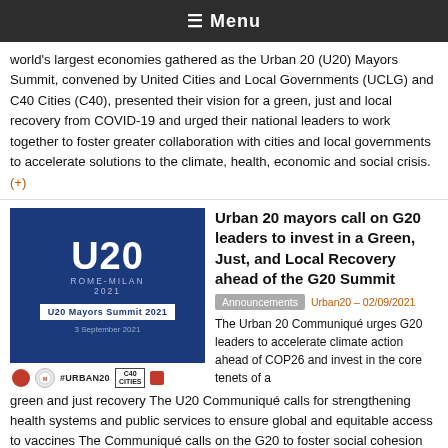≡ Menu
world's largest economies gathered as the Urban 20 (U20) Mayors Summit, convened by United Cities and Local Governments (UCLG) and C40 Cities (C40), presented their vision for a green, just and local recovery from COVID-19 and urged their national leaders to work together to foster greater collaboration with cities and local governments to accelerate solutions to the climate, health, economic and social crisis. (+)
[Figure (screenshot): U20 Mayors Summit 2021 banner — blue background with U20 logo, Rome-Milan 2021 text, event date 3 September 2021, and sponsor logos including #URBAN20 and C40 Cities]
Urban 20 mayors call on G20 leaders to invest in a Green, Just, and Local Recovery ahead of the G20 Summit
Announcements  Urban20 – 02/09/2021
The Urban 20 Communiqué urges G20 leaders to accelerate climate action ahead of COP26 and invest in the core tenets of a green and just recovery The U20 Communiqué calls for strengthening health systems and public services to ensure global and equitable access to vaccines The Communiqué calls on the G20 to foster social cohesion and equity and to move towards inclusive and prosperous societies (+)
[Figure (illustration): Red/orange background with white UCLG icon/logo]
UCLG calls for Human Rights to be preserved in Afghanistan and for